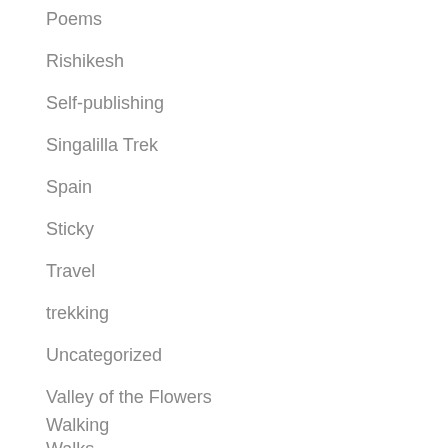Poems
Rishikesh
Self-publishing
Singalilla Trek
Spain
Sticky
Travel
trekking
Uncategorized
Valley of the Flowers
Walking
Walks